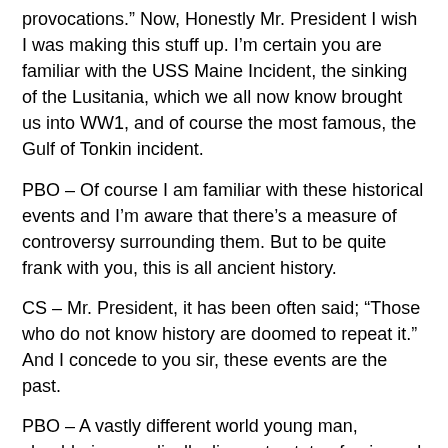provocations.” Now, Honestly Mr. President I wish I was making this stuff up. I’m certain you are familiar with the USS Maine Incident, the sinking of the Lusitania, which we all now know brought us into WW1, and of course the most famous, the Gulf of Tonkin incident.
PBO – Of course I am familiar with these historical events and I’m aware that there’s a measure of controversy surrounding them. But to be quite frank with you, this is all ancient history.
CS – Mr. President, it has been often said; “Those who do not know history are doomed to repeat it.” And I concede to you sir, these events are the past.
PBO – A vastly different world young man, shouldering a radically disparate state of universal affairs.